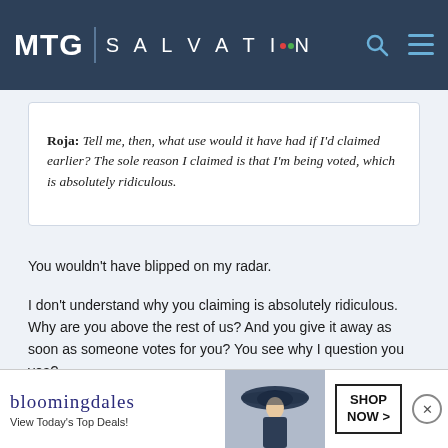MTG | SALVATION
Roja: Tell me, then, what use would it have had if I'd claimed earlier? The sole reason I claimed is that I'm being voted, which is absolutely ridiculous.
You wouldn't have blipped on my radar.
I don't understand why you claiming is absolutely ridiculous. Why are you above the rest of us? And you give it away as soon as someone votes for you? You see why I question you yea?
[Figure (screenshot): Bloomingdale's advertisement banner with logo, 'View Today's Top Deals!' tagline, woman in hat image, and 'SHOP NOW >' button]